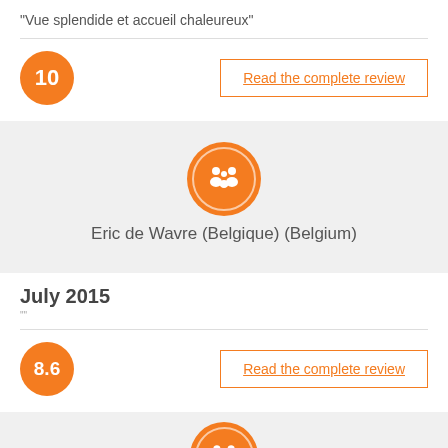“Vue splendide et accueil chaleureux”
10
Read the complete review
[Figure (illustration): Orange circle with white family/group icon and inner white ring outline]
Eric de Wavre (Belgique) (Belgium)
July 2015
8.6
Read the complete review
[Figure (illustration): Orange circle with white family/group icon and inner white ring outline (partially visible at bottom)]